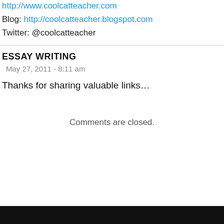http://www.coolcatteacher.com
Blog: http://coolcatteacher.blogspot.com
Twitter: @coolcatteacher
ESSAY WRITING
May 27, 2011 - 8:11 am
Thanks for sharing valuable links…
Comments are closed.